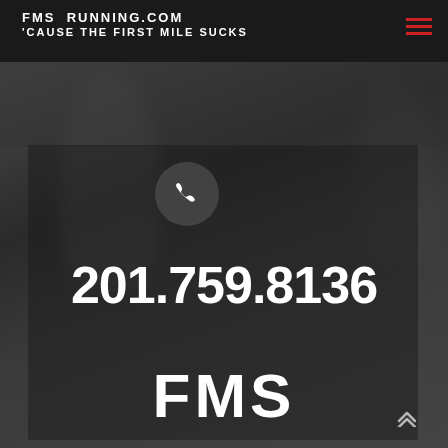FMS RUNNING.COM
'CAUSE THE FIRST MILE SUCKS
[Figure (screenshot): Phone icon in a circular dark button]
201.759.8136
FMS